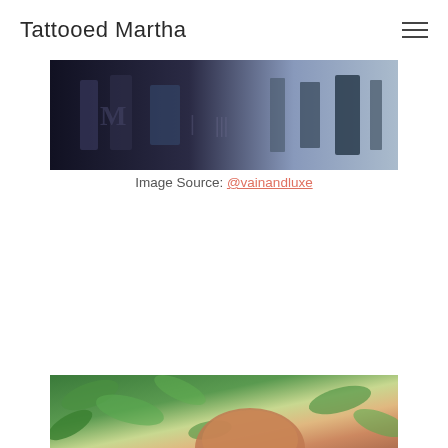Tattooed Martha
[Figure (photo): Top portion of a photo showing what appears to be tattoo-related imagery with dark tones and text/lettering visible]
Image Source: @vainandluxe
[Figure (photo): Bottom portion of a photo showing a person with reddish/auburn hair surrounded by green foliage/leaves]